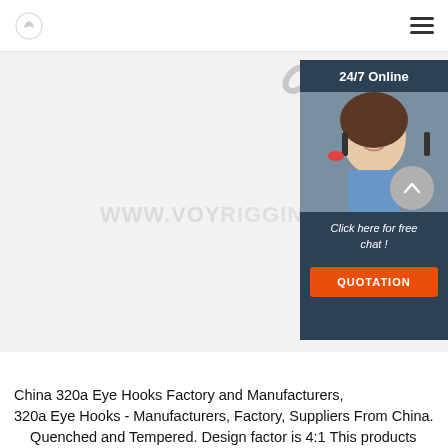[Logo] www.voyrigging.com [Navigation menu]
[Figure (photo): A galvanized steel turnbuckle with eye-and-jaw ends, shown diagonally on a light gray background. Watermark text reads WWW.VOYRIGGING. overlaid on the image. A live chat widget is overlaid on the right side showing '24/7 Online', a woman with a headset, 'Click here for free chat!' and an orange 'QUOTATION' button.]
China 320a Eye Hooks Factory and Manufacturers, 320a Eye Hooks - Manufacturers, Factory, Suppliers From China. Quenched and Tempered. Design factor is 4:1 This products